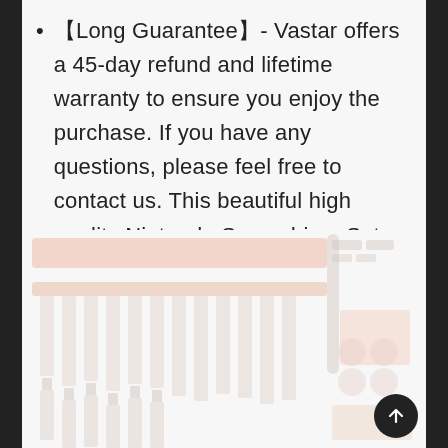【Long Guarantee】- Vastar offers a 45-day refund and lifetime warranty to ensure you enjoy the purchase. If you have any questions, please feel free to contact us. This beautiful high quality Nintendo Screwdriver Set repair tool is the best gift choice for friends .
[Figure (photo): Faded/watermark-style image of a Nintendo screwdriver set tool kit showing multiple screwdrivers and components arranged on a light background.]